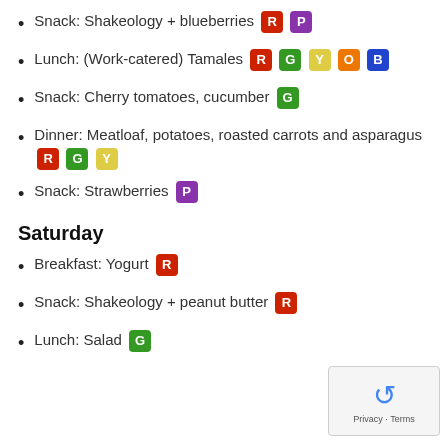Snack: Shakeology + blueberries R P
Lunch: (Work-catered) Tamales R G Y O B
Snack: Cherry tomatoes, cucumber G
Dinner: Meatloaf, potatoes, roasted carrots and asparagus R G Y
Snack: Strawberries P
Saturday
Breakfast: Yogurt R
Snack: Shakeology + peanut butter R
Lunch: Salad G